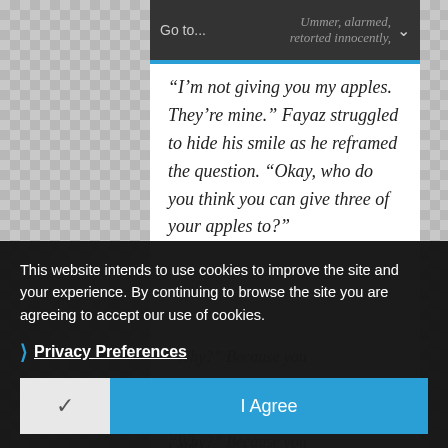Go to...  Ummer, alarmed, retorted innocently,
“I’m not giving you my apples. They’re mine.” Fayaz struggled to hide his smile as he reframed the question. “Okay, who do you think you can give three of your apples to?”
After a moment’s deep
“Why?” Because you
he’s your baby sister?”
e has
t eat my apples.”
This website intends to use cookies to improve the site and your experience. By continuing to browse the site you are agreeing to accept our use of cookies.
› Privacy Preferences
✓  I Agree